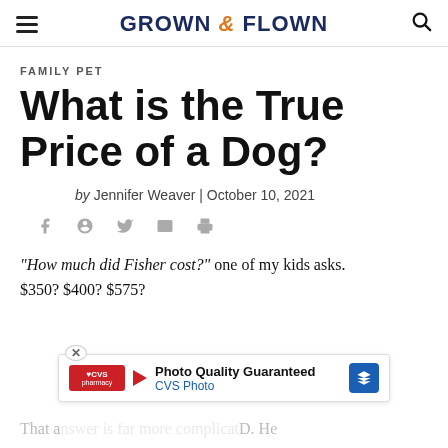GROWN & FLOWN
FAMILY PET
What is the True Price of a Dog?
by Jennifer Weaver | October 10, 2021
"How much did Fisher cost?" one of my kids asks. $350? $400? $575?
[Figure (other): CVS Photo advertisement banner: 'Photo Quality Guaranteed - CVS Photo']
That a...D. He